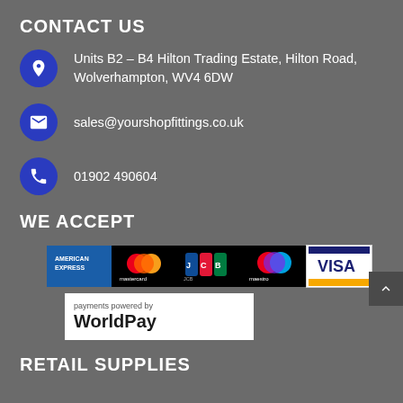CONTACT US
Units B2 – B4 Hilton Trading Estate, Hilton Road, Wolverhampton, WV4 6DW
sales@yourshopfittings.co.uk
01902 490604
WE ACCEPT
[Figure (infographic): Payment method logos: American Express, Mastercard, JCB, Maestro, Visa]
[Figure (logo): Payments powered by WorldPay logo]
RETAIL SUPPLIES